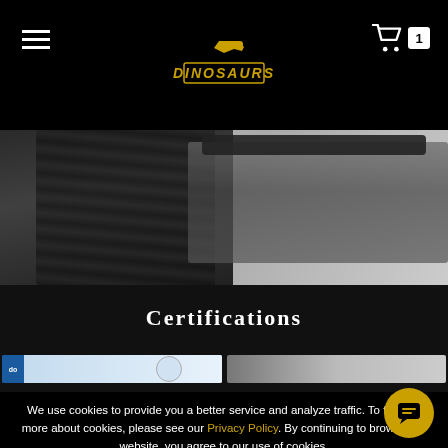DINOSAURS — navigation header with hamburger menu, logo, and cart (1 item)
[Figure (photo): Close-up photo of black cables/cords and a dark electronic device against a light stone/concrete background]
Certifications
[Figure (photo): Two certification document thumbnail images side by side]
We use cookies to provide you a better service and analyze traffic. To find out more about cookies, please see our Privacy Policy. By continuing to browse our website, you agree to our use of cookies.
I agree